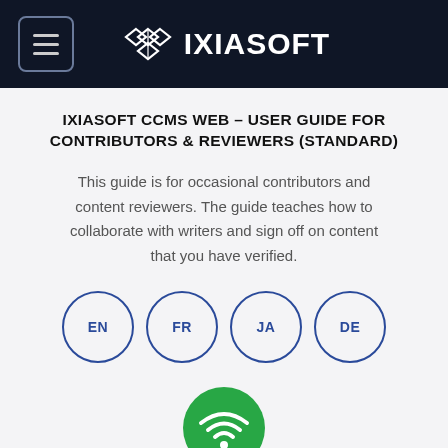IXIASOFT
IXIASOFT CCMS WEB – USER GUIDE FOR CONTRIBUTORS & REVIEWERS (STANDARD)
This guide is for occasional contributors and content reviewers. The guide teaches how to collaborate with writers and sign off on content that you have verified.
[Figure (infographic): Four circular language selector buttons labeled EN, FR, JA, DE with blue outlines]
[Figure (infographic): Green circular WiFi icon button]